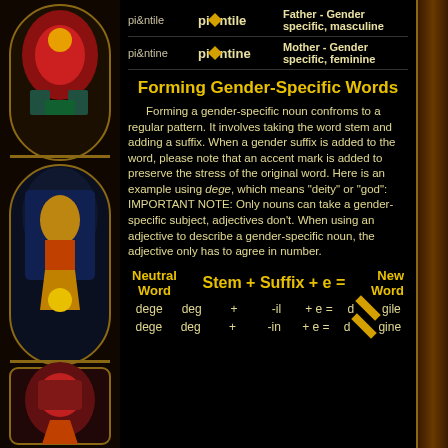[Figure (illustration): Stained glass window decorative panel on the left side of the page showing colorful figures]
|  |  |  |
| --- | --- | --- |
| pi&ntile | pi◆ntile | Father - Gender specific, masculine |
| pi&ntine | pi◆ntine | Mother - Gender specific, feminine |
Forming Gender-Specific Words
Forming a gender-specific noun confroms to a regular pattern. It involves taking the word stem and adding a suffix. When a gender suffix is added to the word, please note that an accent mark is added to preserve the stress of the original word. Here is an example using dege, which means "deity" or "god": IMPORTANT NOTE: Only nouns can take a gender-specific subject, adjectives don't. When using an adjective to describe a gender-specific noun, the adjective only has to agree in number.
| Neutral Word | Stem + Suffix + e = | New Word |
| --- | --- | --- |
| dege | deg + -il + e = | d◆gile |
| dege | deg + -in + e = | d◆gine |